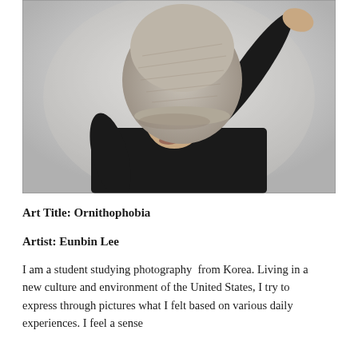[Figure (photo): Black and white photograph of a person wearing a black turtleneck, with a large grey sculptural hat or object covering their face, one arm raised upward holding the object, photographed against a light background.]
Art Title: Ornithophobia
Artist: Eunbin Lee
I am a student studying photography  from Korea. Living in a new culture and environment of the United States, I try to express through pictures what I felt based on various daily experiences. I feel a sense